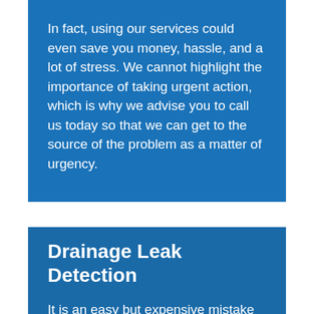In fact, using our services could even save you money, hassle, and a lot of stress. We cannot highlight the importance of taking urgent action, which is why we advise you to call us today so that we can get to the source of the problem as a matter of urgency.
Drainage Leak Detection
It is an easy but expensive mistake to assume that leaks in your drainage system are not as damaging as in the water supply. Leaking drains can cause nasty lingering smells, extensive damage to your property and can be some of the most challenging leaks to detect.